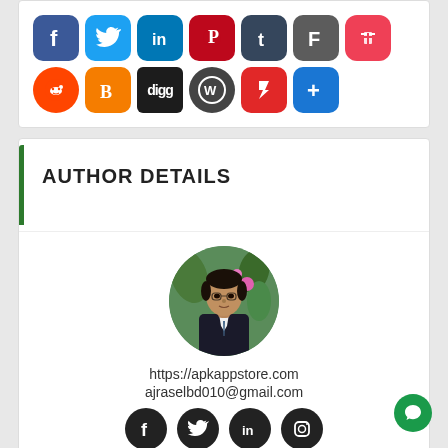[Figure (infographic): Social media share buttons: Facebook, Twitter, LinkedIn, Pinterest, Tumblr, Flipboard (F), Pocket, Reddit, Blogger, Digg, WordPress, Flipboard, Share (+)]
AUTHOR DETAILS
[Figure (photo): Circular profile photo of a young South Asian man wearing a suit and tie, with colorful flowers/plants in the background]
https://apkappstore.com
ajraselbd010@gmail.com
[Figure (infographic): Row of 4 circular social media icons: Facebook, Twitter, LinkedIn, Instagram — all black background with white logos]
AiRaSeLbd